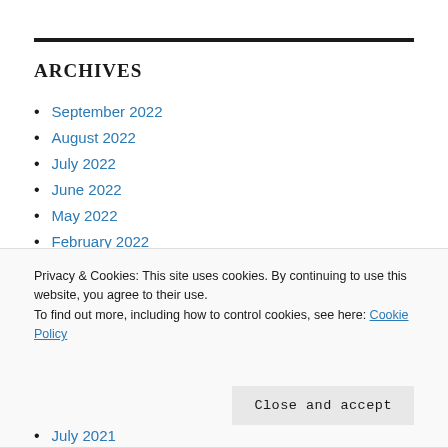ARCHIVES
September 2022
August 2022
July 2022
June 2022
May 2022
February 2022
Privacy & Cookies: This site uses cookies. By continuing to use this website, you agree to their use.
To find out more, including how to control cookies, see here: Cookie Policy
Close and accept
July 2021